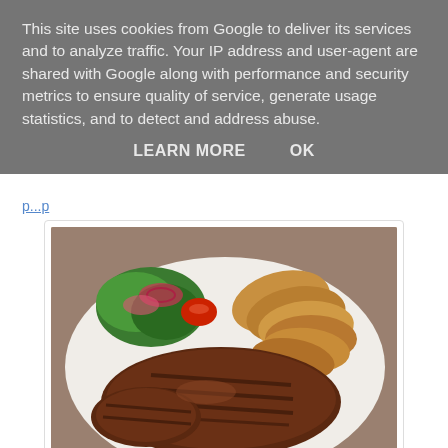This site uses cookies from Google to deliver its services and to analyze traffic. Your IP address and user-agent are shared with Google along with performance and security metrics to ensure quality of service, generate usage statistics, and to detect and address abuse.
LEARN MORE    OK
[Figure (photo): A plate of grilled steak with crispy potato chips/wedges and a fresh salad with red onions, tomatoes, and greens on a white plate.]
Red meat is pretty crucial to keep your iron and ferratin levels up. I am getting to get those checked asap after